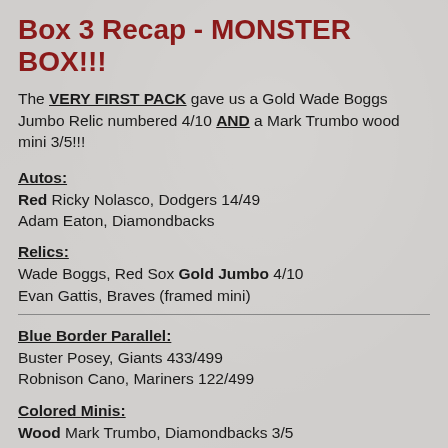Box 3 Recap - MONSTER BOX!!!
The VERY FIRST PACK gave us a Gold Wade Boggs Jumbo Relic numbered 4/10 AND a Mark Trumbo wood mini 3/5!!!
Autos:
Red Ricky Nolasco, Dodgers 14/49
Adam Eaton, Diamondbacks
Relics:
Wade Boggs, Red Sox Gold Jumbo 4/10
Evan Gattis, Braves (framed mini)
Blue Border Parallel:
Buster Posey, Giants 433/499
Robnison Cano, Mariners 122/499
Colored Minis:
Wood Mark Trumbo, Diamondbacks 3/5